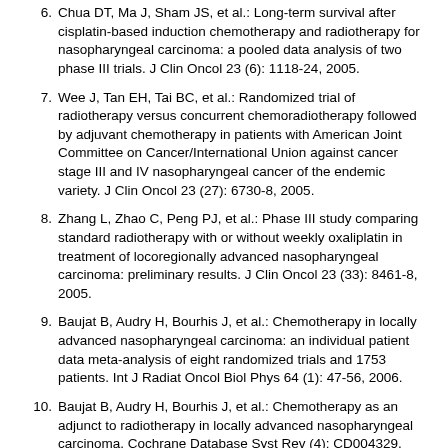6. Chua DT, Ma J, Sham JS, et al.: Long-term survival after cisplatin-based induction chemotherapy and radiotherapy for nasopharyngeal carcinoma: a pooled data analysis of two phase III trials. J Clin Oncol 23 (6): 1118-24, 2005.
7. Wee J, Tan EH, Tai BC, et al.: Randomized trial of radiotherapy versus concurrent chemoradiotherapy followed by adjuvant chemotherapy in patients with American Joint Committee on Cancer/International Union against cancer stage III and IV nasopharyngeal cancer of the endemic variety. J Clin Oncol 23 (27): 6730-8, 2005.
8. Zhang L, Zhao C, Peng PJ, et al.: Phase III study comparing standard radiotherapy with or without weekly oxaliplatin in treatment of locoregionally advanced nasopharyngeal carcinoma: preliminary results. J Clin Oncol 23 (33): 8461-8, 2005.
9. Baujat B, Audry H, Bourhis J, et al.: Chemotherapy in locally advanced nasopharyngeal carcinoma: an individual patient data meta-analysis of eight randomized trials and 1753 patients. Int J Radiat Oncol Biol Phys 64 (1): 47-56, 2006.
10. Baujat B, Audry H, Bourhis J, et al.: Chemotherapy as an adjunct to radiotherapy in locally advanced nasopharyngeal carcinoma. Cochrane Database Syst Rev (4): CD004329, 2006.
11. Chen Y, Liu MZ, Liang SB, et al.: Preliminary results of a prospective randomized trial comparing concurrent